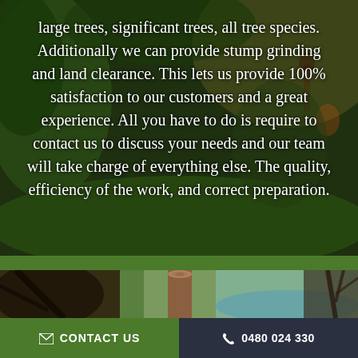large trees, significant trees, all tree species. Additionally we can provide stump grinding and land clearance. This lets us provide 100% satisfaction to our customers and a great experience. All you have to do is require to contact us to discuss your needs and our team will take charge of everything else. The quality, efficiency of the work, and correct preparation.
[Figure (photo): Photo of a cut tree trunk near a lake or river, with green landscape in the background]
✉ CONTACT US
✆ 0480 024 330